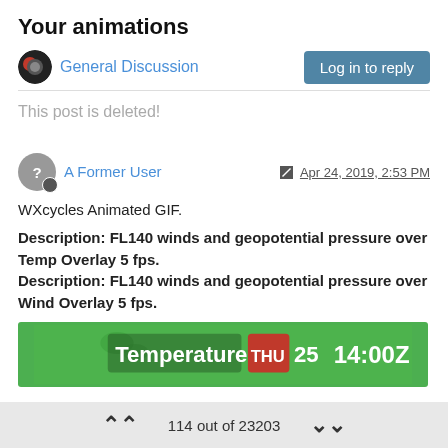Your animations
General Discussion
Log in to reply
This post is deleted!
A Former User
Apr 24, 2019, 2:53 PM
WXcycles Animated GIF.
Description: FL140 winds and geopotential pressure over Temp Overlay 5 fps.
Description: FL140 winds and geopotential pressure over Wind Overlay 5 fps.
[Figure (screenshot): Weather animation screenshot showing 'Temperature THU 25 14:00Z' on a green background]
114 out of 23203